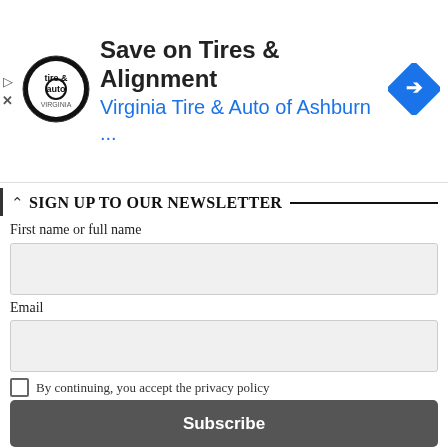[Figure (infographic): Advertisement banner: Virginia Tire & Auto of Ashburn logo on left, text 'Save on Tires & Alignment' and 'Virginia Tire & Auto of Ashburn ...' in center, blue diamond arrow icon on right. Play and X controls on far left.]
SIGN UP TO OUR NEWSLETTER
First name or full name
Email
By continuing, you accept the privacy policy
Subscribe
LISTEN TO OUR PODCAST